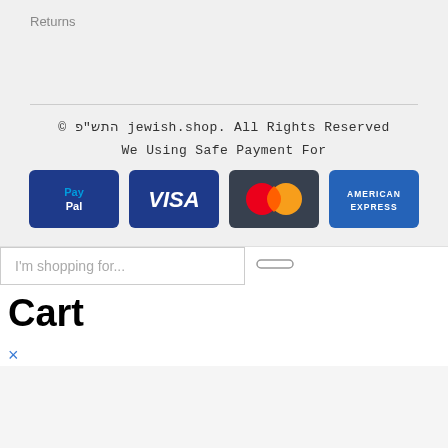Returns
© התש"פ jewish.shop. All Rights Reserved
We Using Safe Payment For
[Figure (logo): Payment method logos: PayPal, VISA, Mastercard, American Express]
I'm shopping for...
Cart
×